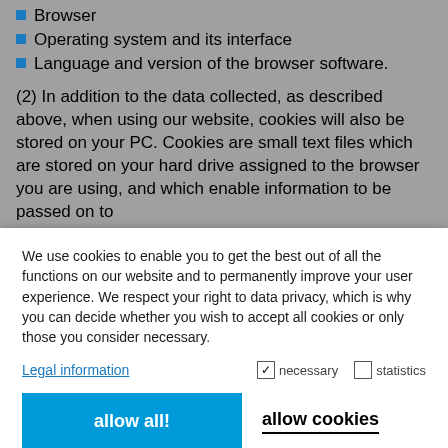Browser
Operating system and its interface
Language and version of the browser software.
(2) In addition to the data collected, as described above, when using our website, cookies will also be stored on your PC. Cookies are small text files which are stored on your hard drive assigned to the browser you are using, and which enable information to be passed on to
We use cookies to enable you to get the best out of all the functions on our website and to permanently improve your user experience. We respect your right to data privacy, which is why you can decide whether you wish to accept all cookies or only those you consider necessary.
Legal information
necessary
statistics
allow all!
allow cookies
Persistent cookies (see c)